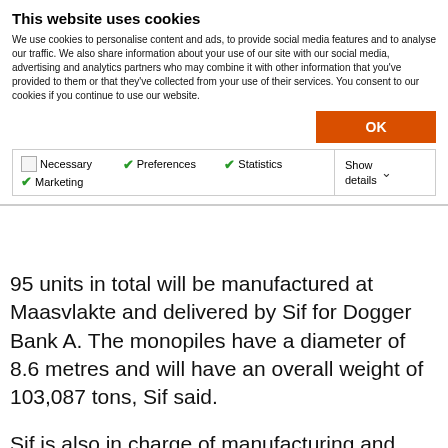This website uses cookies
We use cookies to personalise content and ads, to provide social media features and to analyse our traffic. We also share information about your use of our site with our social media, advertising and analytics partners who may combine it with other information that you've provided to them or that they've collected from your use of their services. You consent to our cookies if you continue to use our website.
OK
Necessary  Preferences  Statistics  Marketing  Show details
95 units in total will be manufactured at Maasvlakte and delivered by Sif for Dogger Bank A. The monopiles have a diameter of 8.6 metres and will have an overall weight of 103,087 tons, Sif said.
Sif is also in charge of manufacturing and delivering monopiles for Dogger B and Dogger Bank C.